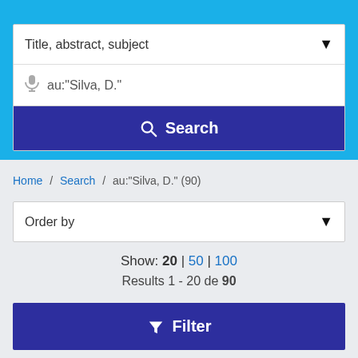[Figure (screenshot): Search interface top bar with blue background showing search fields]
Title, abstract, subject
au:"Silva, D."
Search
Home / Search / au:"Silva, D." (90)
Order by
Show: 20 | 50 | 100
Results 1 - 20 de 90
Filter